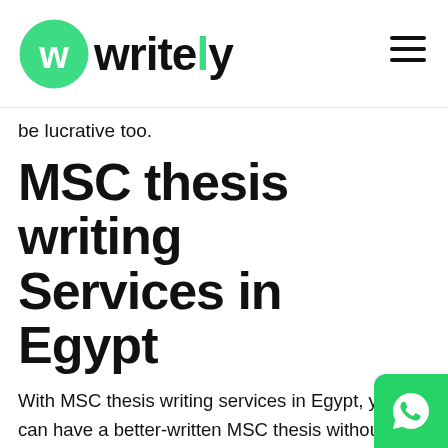Writely (logo)
be lucrative too.
MSC thesis writing Services in Egypt
With MSC thesis writing services in Egypt, you can have a better-written MSC thesis without any hassle.
Writely, is the best MSC thesis writing services in Egypt make sure that the students do not have to struggle with writing their MSC thesis. Writing a MSC thesis is no easy task for anyone and there are times when it seems like an impossible task. With MSC thesis ser…